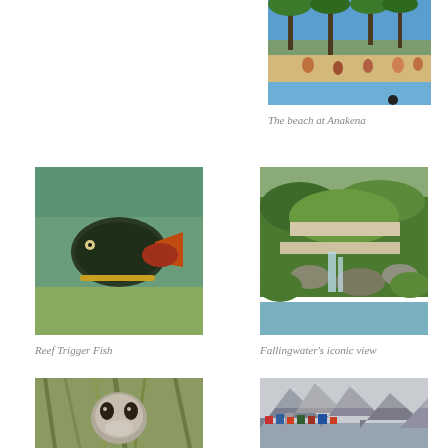[Figure (photo): Beach at Anakena with palm trees, sand, and people]
The beach at Anakena
[Figure (photo): Reef Trigger Fish underwater on sandy seafloor]
Reef Trigger Fish
[Figure (photo): Fallingwater house with waterfall and lush greenery]
Fallingwater's iconic view
[Figure (photo): Seal peeking through grass blades]
[Figure (photo): Coastal scene with mountains in mist and colorful houses]